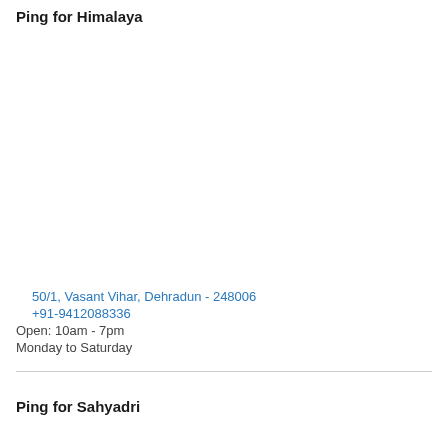Ping for Himalaya
50/1, Vasant Vihar, Dehradun - 248006
+91-9412088336
Open: 10am - 7pm
Monday to Saturday
Ping for Sahyadri